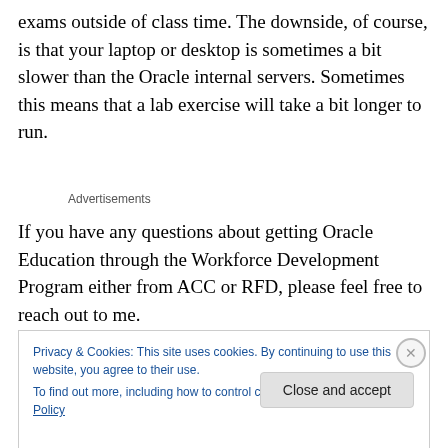exams outside of class time. The downside, of course, is that your laptop or desktop is sometimes a bit slower than the Oracle internal servers. Sometimes this means that a lab exercise will take a bit longer to run.
Advertisements
If you have any questions about getting Oracle Education through the Workforce Development Program either from ACC or RFD, please feel free to reach out to me.
Privacy & Cookies: This site uses cookies. By continuing to use this website, you agree to their use.
To find out more, including how to control cookies, see here: Cookie Policy
Close and accept